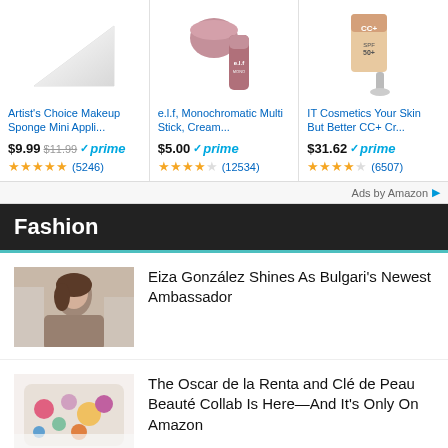[Figure (screenshot): Amazon product ad: Artist's Choice Makeup Sponge Mini Appli... — $9.99 (was $11.99), Prime eligible, 4.5 stars (5246 reviews)]
[Figure (screenshot): Amazon product ad: e.l.f, Monochromatic Multi Stick, Cream... — $5.00, Prime eligible, 4 stars (12534 reviews)]
[Figure (screenshot): Amazon product ad: IT Cosmetics Your Skin But Better CC+ Cr... — $31.62, Prime eligible, 4.5 stars (6507 reviews)]
Ads by Amazon
Fashion
Eiza González Shines As Bulgari's Newest Ambassador
The Oscar de la Renta and Clé de Peau Beauté Collab Is Here—And It's Only On Amazon